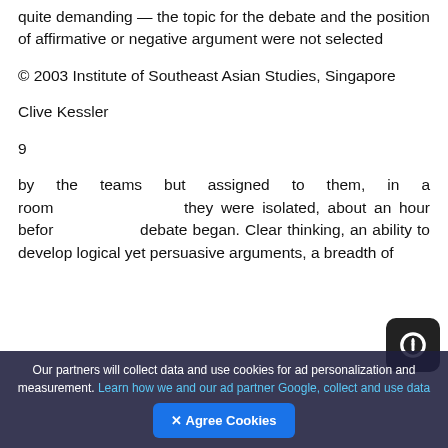quite demanding — the topic for the debate and the position of affirmative or negative argument were not selected
© 2003 Institute of Southeast Asian Studies, Singapore
Clive Kessler
9
by the teams but assigned to them, in a room they were isolated, about an hour before debate began. Clear thinking, an ability to develop logical yet persuasive arguments, a breadth of